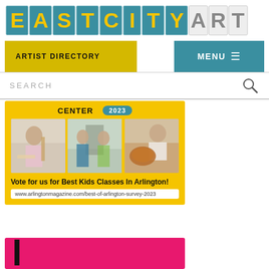EASTCITYART
ARTIST DIRECTORY | MENU
SEARCH
[Figure (screenshot): Yellow promotional banner for Arlington Art Center with 'CENTER' heading, '2023' badge, three photos of kids doing art classes, bold text 'Vote for us for Best Kids Classes In Arlington!' and URL www.arlingtonmagazine.com/best-of-arlington-survey-2023]
[Figure (illustration): Partial pink/magenta background with large black letter 'L' visible at bottom of page]